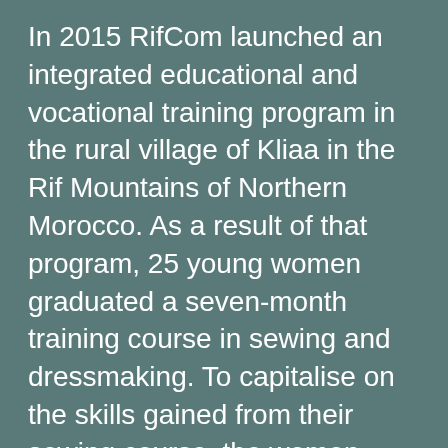In 2015 RifCom launched an integrated educational and vocational training program in the rural village of Kliaa in the Rif Mountains of Northern Morocco. As a result of that program, 25 young women graduated a seven-month training course in sewing and dressmaking. To capitalise on the skills gained from their sewing course, the women, with assistance from RifCom and their local association, have set up a sewing cooperative to create a better source of income and a brighter future for themselves and their families.
Ordinarily the women derive their income from low paid, back-breaking agricultural work. It is common in the rural regions of